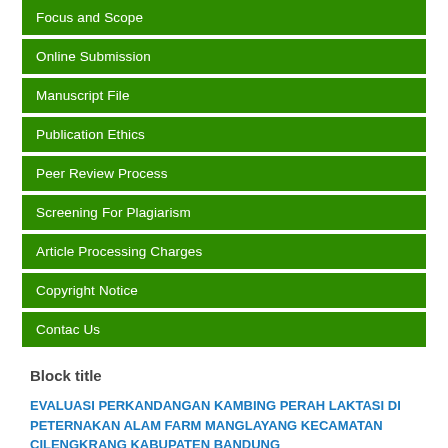Focus and Scope
Online Submission
Manuscript File
Publication Ethics
Peer Review Process
Screening For Plagiarism
Article Processing Charges
Copyright Notice
Contac Us
Block title
EVALUASI PERKANDANGAN KAMBING PERAH LAKTASI DI PETERNAKAN ALAM FARM MANGLAYANG KECAMATAN CILENGKRANG KABUPATEN BANDUNG